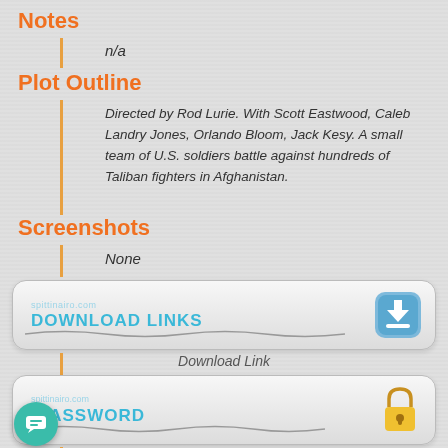Notes
n/a
Plot Outline
Directed by Rod Lurie. With Scott Eastwood, Caleb Landry Jones, Orlando Bloom, Jack Kesy. A small team of U.S. soldiers battle against hundreds of Taliban fighters in Afghanistan.
Screenshots
None
[Figure (screenshot): Download Links banner with blue download arrow icon]
Download Link
[Figure (screenshot): Password banner with yellow lock icon]
Link Password: 300mbunited
RAR Password: ultrascorp